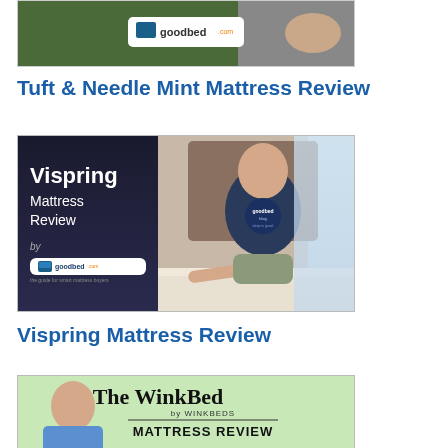[Figure (screenshot): Thumbnail image for Tuft & Needle Mint Mattress Review video with GoodBed.com logo badge on green background]
Tuft & Needle Mint Mattress Review
[Figure (screenshot): Thumbnail for Vispring Mattress Review video showing a bald man in a GoodBed t-shirt sitting on a mattress, with Vispring Mattress Review text on dark background left side and GoodBed logo]
Vispring Mattress Review
[Figure (screenshot): Thumbnail for The WinkBed by WinkBeds Mattress Review with green background and large text]